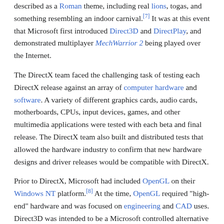described as a Roman theme, including real lions, togas, and something resembling an indoor carnival.[7] It was at this event that Microsoft first introduced Direct3D and DirectPlay, and demonstrated multiplayer MechWarrior 2 being played over the Internet.
The DirectX team faced the challenging task of testing each DirectX release against an array of computer hardware and software. A variety of different graphics cards, audio cards, motherboards, CPUs, input devices, games, and other multimedia applications were tested with each beta and final release. The DirectX team also built and distributed tests that allowed the hardware industry to confirm that new hardware designs and driver releases would be compatible with DirectX.
Prior to DirectX, Microsoft had included OpenGL on their Windows NT platform.[8] At the time, OpenGL required "high-end" hardware and was focused on engineering and CAD uses. Direct3D was intended to be a Microsoft controlled alternative to OpenGL, focused on initially on game use. As 3D gaming grew, OpenGL developed to include better support for programming techniques for interactive multimedia applications like games, giving developers